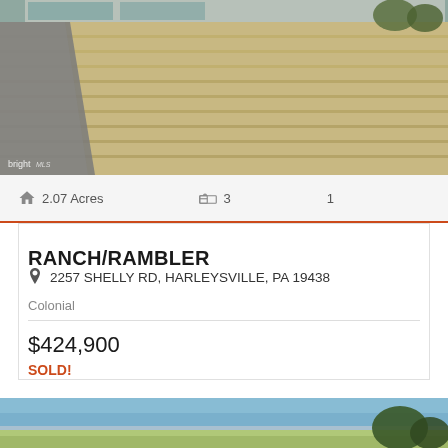[Figure (photo): Exterior photo of a ranch/rambler style house with large front lawn, driveway on the left, garage visible, suburban home in Pennsylvania. Bright MLS watermark in bottom left.]
2.07 Acres   3   1
RANCH/RAMBLER
2257 SHELLY RD, HARLEYSVILLE, PA 19438
Colonial
$424,900
SOLD!
[Figure (photo): Bottom portion of another property exterior photo showing sky and landscape.]